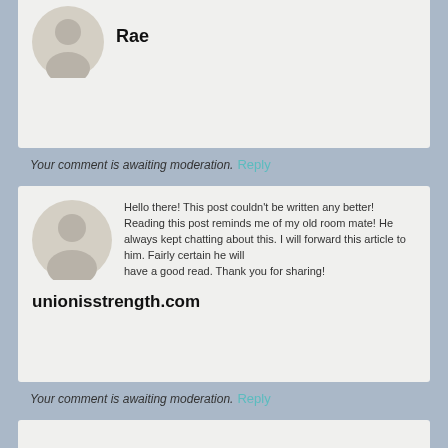Rae
Your comment is awaiting moderation.
Reply
Hello there! This post couldn't be written any better! Reading this post reminds me of my old room mate! He always kept chatting about this. I will forward this article to him. Fairly certain he will have a good read. Thank you for sharing!
unionisstrength.com
Your comment is awaiting moderation.
Reply
You can certainly see your enthusiasm within the article you write.

The arena hopes for more passionate writers such as you who are not afraid to mention how they believe. At all times follow your heart.
Daniella
Your comment is awaiting moderation.
Reply